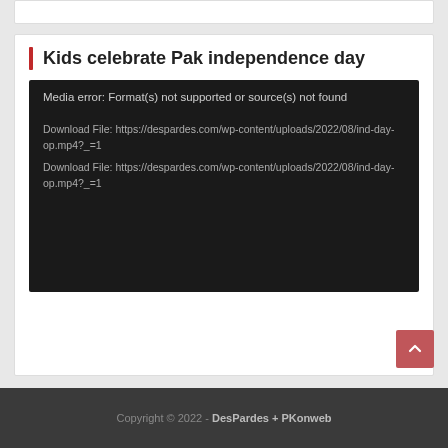Kids celebrate Pak independence day
[Figure (screenshot): Media error box with dark background showing: 'Media error: Format(s) not supported or source(s) not found' and two download file links to https://despardes.com/wp-content/uploads/2022/08/ind-day-op.mp4?_=1]
Copyright © 2022 - DesPardes + PKonweb